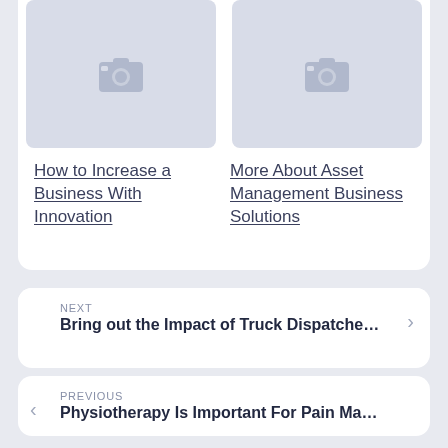[Figure (photo): Image placeholder with camera icon (top left)]
[Figure (photo): Image placeholder with camera icon (top right)]
How to Increase a Business With Innovation
More About Asset Management Business Solutions
NEXT
Bring out the Impact of Truck Dispatche...
PREVIOUS
Physiotherapy Is Important For Pain Ma...